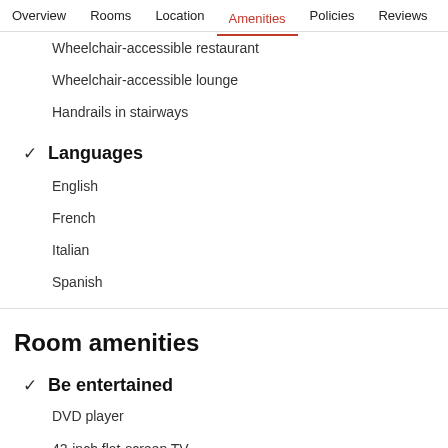Overview  Rooms  Location  Amenities  Policies  Reviews
Wheelchair-accessible restaurant
Wheelchair-accessible lounge
Handrails in stairways
✓ Languages
English
French
Italian
Spanish
Room amenities
✓ Be entertained
DVD player
42-inch flat-screen TV